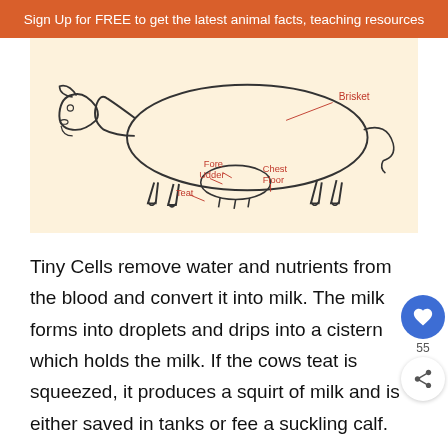Sign Up for FREE to get the latest animal facts, teaching resources
[Figure (illustration): Anatomical diagram of a cow showing labeled parts: Brisket (upper right), Fore Udder (center), Chest Floor (center-right), and Teat (lower center-left). The cow is drawn in black and white line art style on a light orange/cream background.]
Tiny Cells remove water and nutrients from the blood and convert it into milk. The milk forms into droplets and drips into a cistern which holds the milk. If the cows teat is squeezed, it produces a squirt of milk and is either saved in tanks or fed a suckling calf.